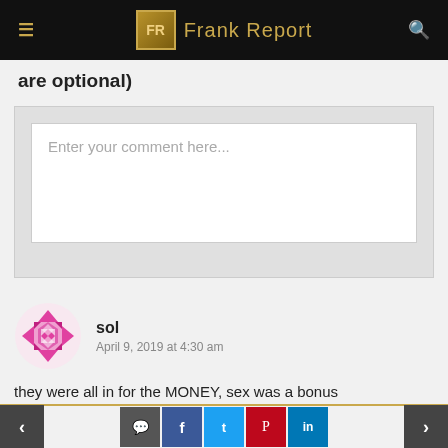Frank Report
are optional)
[Figure (screenshot): Comment entry text area with placeholder text 'Enter your comment here...']
sol
April 9, 2019 at 4:30 am
they were all in for the MONEY, sex was a bonus
REPLY
Social share bar with navigation arrows and share buttons